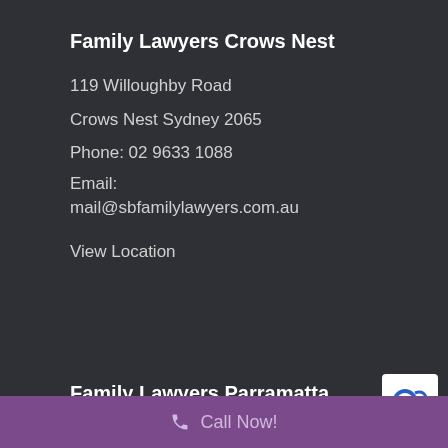Family Lawyers Crows Nest
119 Willoughby Road
Crows Nest Sydney 2065
Phone: 02 9633 1088
Email:
mail@sbfamilylawyers.com.au
View Location
Family Lawyers Parramatta
Call Now!